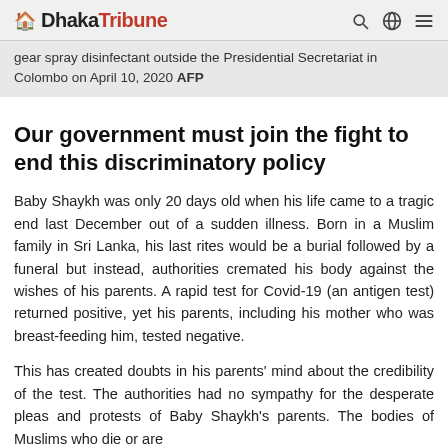Dhaka Tribune
gear spray disinfectant outside the Presidential Secretariat in Colombo on April 10, 2020 AFP
Our government must join the fight to end this discriminatory policy
Baby Shaykh was only 20 days old when his life came to a tragic end last December out of a sudden illness. Born in a Muslim family in Sri Lanka, his last rites would be a burial followed by a funeral but instead, authorities cremated his body against the wishes of his parents. A rapid test for Covid-19 (an antigen test) returned positive, yet his parents, including his mother who was breast-feeding him, tested negative.
This has created doubts in his parents' mind about the credibility of the test. The authorities had no sympathy for the desperate pleas and protests of Baby Shaykh's parents. The bodies of Muslims who die or are